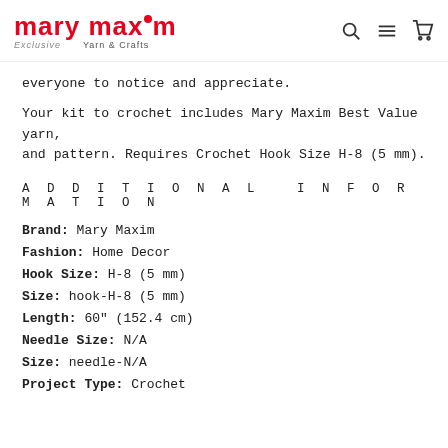mary maxim — Exclusive Yarn & Crafts
everyone to notice and appreciate.
Your kit to crochet includes Mary Maxim Best Value yarn, and pattern. Requires Crochet Hook Size H-8 (5 mm).
ADDITIONAL INFORMATION
Brand: Mary Maxim
Fashion: Home Decor
Hook Size: H-8 (5 mm)
Size: hook-H-8 (5 mm)
Length: 60" (152.4 cm)
Needle Size: N/A
Size: needle-N/A
Project Type: Crochet